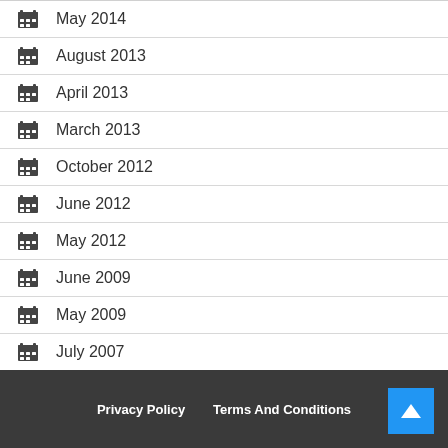May 2014
August 2013
April 2013
March 2013
October 2012
June 2012
May 2012
June 2009
May 2009
July 2007
Privacy Policy   Terms And Conditions